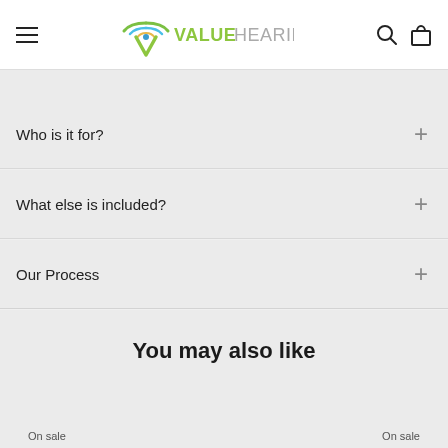ValueHearing — navigation header with hamburger menu, logo, search and cart icons
Who is it for?
What else is included?
Our Process
You may also like
On sale
On sale